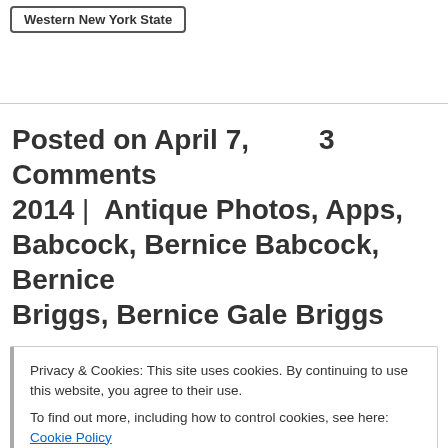Western New York State
Posted on April 7, 2014 | 3 Comments | Antique Photos, Apps, Babcock, Bernice Babcock, Bernice Briggs, Bernice Gale Briggs
Privacy & Cookies: This site uses cookies. By continuing to use this website, you agree to their use. To find out more, including how to control cookies, see here: Cookie Policy
Briggs, Cole, Collins New York